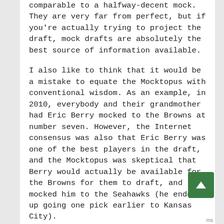comparable to a halfway-decent mock. They are very far from perfect, but if you're actually trying to project the draft, mock drafts are absolutely the best source of information available.
I also like to think that it would be a mistake to equate the Mocktopus with conventional wisdom. As an example, in 2010, everybody and their grandmother had Eric Berry mocked to the Browns at number seven. However, the Internet consensus was also that Eric Berry was one of the best players in the draft, and the Mocktopus was skeptical that Berry would actually be available for the Browns for them to draft, and mocked him to the Seahawks (he ended up going one pick earlier to Kansas City).